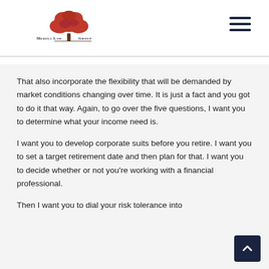Medina Law Group
That also incorporate the flexibility that will be demanded by market conditions changing over time. It is just a fact and you got to do it that way. Again, to go over the five questions, I want you to determine what your income need is.
I want you to develop corporate suits before you retire. I want you to set a target retirement date and then plan for that. I want you to decide whether or not you're working with a financial professional.
Then I want you to dial your risk tolerance into